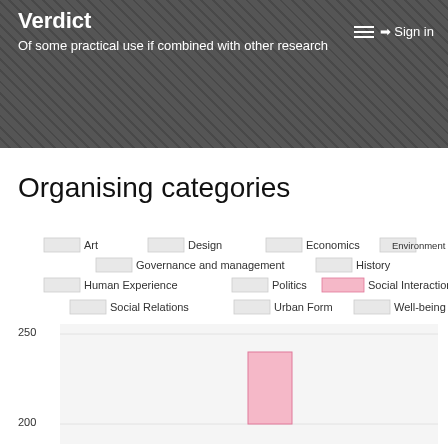Verdict
Of some practical use if combined with other research
Sign in
Organising categories
[Figure (bar-chart): Bar chart showing organising categories. Social Interaction bar is highlighted in pink and reaches approximately 230. Y-axis shows values 200 and 250.]